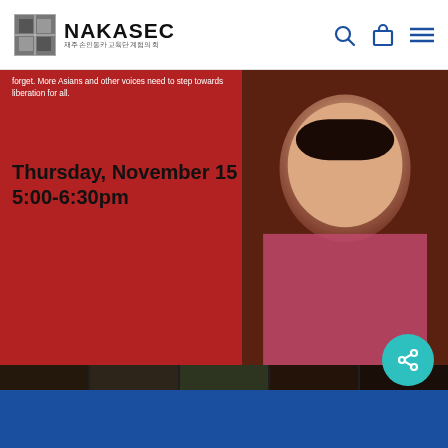NAKASEC
forget. More Asians and other voices need to step towards liberation for all.
Thursday, November 15
5:00-6:30pm
[Figure (photo): Collage of diverse community members smiling and posing, including a man with a child, women, and young people]
Next Post
Calling ALL community members! Submit a public comment on Public Charge!